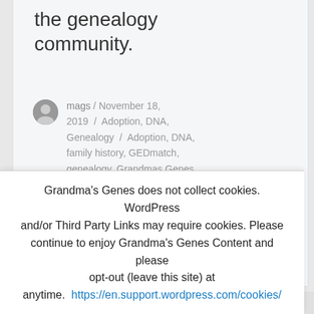the genealogy community.
mags / November 18, 2019 / Adoption, DNA, Genealogy / Adoption, DNA, family history, GEDmatch, genealogy, Grandmas Genes, Hamilton Public Library, Hamilton Public Library Genealogy Fair, Mags Gaulden,
Working WikiTree as a Pro
Grandma's Genes does not collect cookies. WordPress and/or Third Party Links may require cookies. Please continue to enjoy Grandma's Genes Content and please opt-out (leave this site) at anytime. https://en.support.wordpress.com/cookies/
Got it